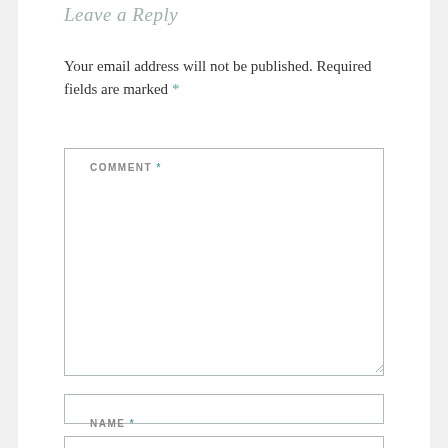Leave a Reply
Your email address will not be published. Required fields are marked *
COMMENT *
NAME *
(email input box)